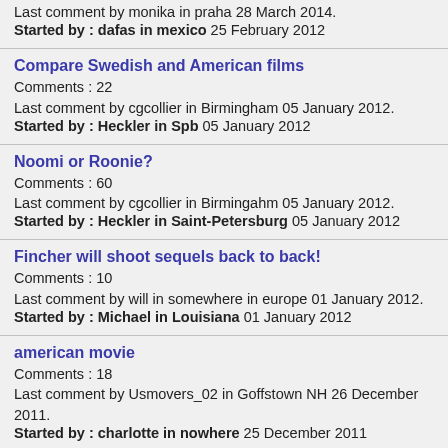Last comment by monika in praha 28 March 2014. Started by : dafas in mexico 25 February 2012
Compare Swedish and American films
Comments : 22
Last comment by cgcollier in Birmingham 05 January 2012.
Started by : Heckler in Spb 05 January 2012
Noomi or Roonie?
Comments : 60
Last comment by cgcollier in Birmingahm 05 January 2012.
Started by : Heckler in Saint-Petersburg 05 January 2012
Fincher will shoot sequels back to back!
Comments : 10
Last comment by will in somewhere in europe 01 January 2012.
Started by : Michael in Louisiana 01 January 2012
american movie
Comments : 18
Last comment by Usmovers_02 in Goffstown NH 26 December 2011.
Started by : charlotte in nowhere 25 December 2011